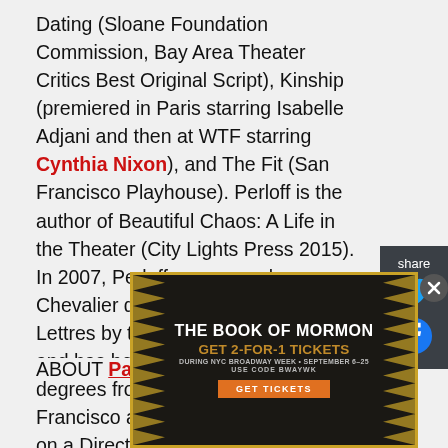Dating (Sloane Foundation Commission, Bay Area Theater Critics Best Original Script), Kinship (premiered in Paris starring Isabelle Adjani and then at WTF starring Cynthia Nixon), and The Fit (San Francisco Playhouse). Perloff is the author of Beautiful Chaos: A Life in the Theater (City Lights Press 2015). In 2007, Perloff was named a Chevalier de l'Ordre des Arts et des Lettres by the French government, and has been awarded honorary degrees from University of San Francisco and A.C.T. She is working on a Director Commission for Seattle Rep: the Oedipus Cycle, with John Douglas Thompson.
[Figure (screenshot): Share sidebar with Twitter and Facebook icons on dark background]
ABOUT Paul Walsh (Translator)
[Figure (infographic): Advertisement banner for The Book of Mormon musical. Text: THE BOOK OF MORMON. GET 2-FOR-1 TICKETS. DURING NYC BROADWAY WEEK • SEPTEMBER 6-25. USE CODE BWAYWK. GET TICKETS.]